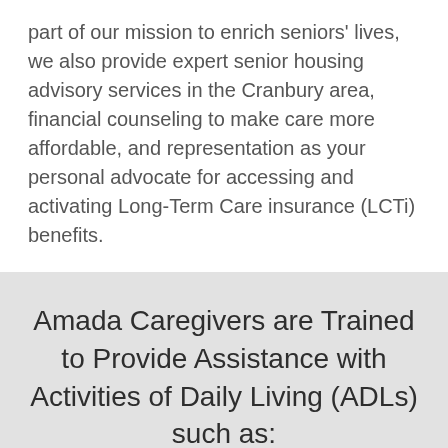part of our mission to enrich seniors' lives, we also provide expert senior housing advisory services in the Cranbury area, financial counseling to make care more affordable, and representation as your personal advocate for accessing and activating Long-Term Care insurance (LCTi) benefits.
Amada Caregivers are Trained to Provide Assistance with Activities of Daily Living (ADLs) such as: